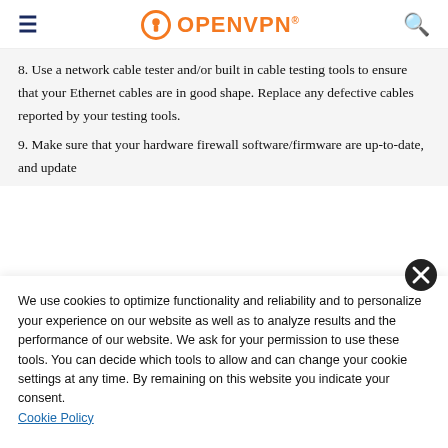OpenVPN
8. Use a network cable tester and/or built in cable testing tools to ensure that your Ethernet cables are in good shape. Replace any defective cables reported by your testing tools.
9. Make sure that your hardware firewall software/firmware are up-to-date, and update
We use cookies to optimize functionality and reliability and to personalize your experience on our website as well as to analyze results and the performance of our website. We ask for your permission to use these tools. You can decide which tools to allow and can change your cookie settings at any time. By remaining on this website you indicate your consent. Cookie Policy